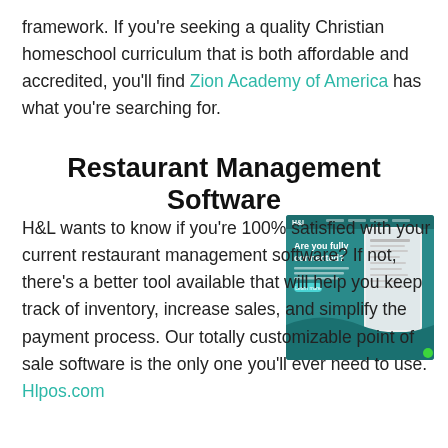framework. If you're seeking a quality Christian homeschool curriculum that is both affordable and accredited, you'll find Zion Academy of America has what you're searching for.
Restaurant Management Software
[Figure (screenshot): Screenshot of H&L restaurant management software website showing 'Are you fully connected?' heading and a smartphone interface on a teal background.]
H&L wants to know if you're 100% satisfied with your current restaurant management software? If not, there's a better tool available that will help you keep track of inventory, increase sales, and simplify the payment process. Our totally customizable point of sale software is the only one you'll ever need to use. Hlpos.com